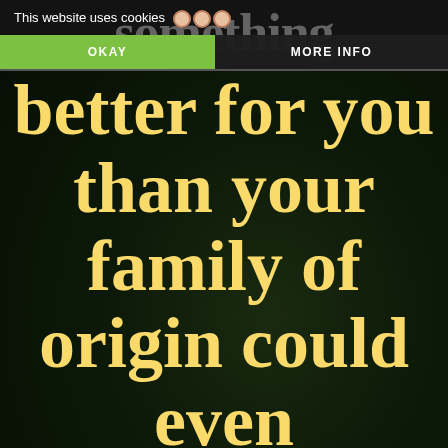This website uses cookies
OKAY
MORE INFO
better for you than your family of origin could even